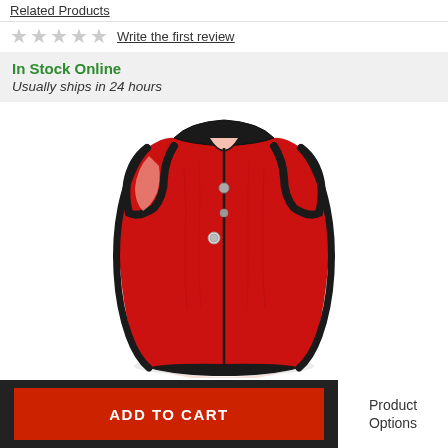Related Products
★★★★★ Write the first review
In Stock Online
Usually ships in 24 hours
[Figure (photo): Red sleeveless cycling vest/jersey with black trim and zipper, shown on a ghost mannequin against a white background.]
ADD TO CART
Product Options